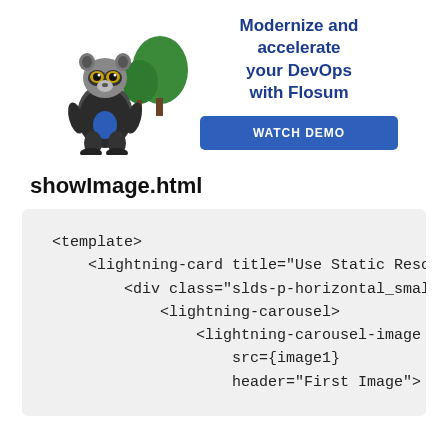[Figure (illustration): Cartoon raccoon mascot wearing a jacket, standing in front of trees, alongside an advertisement for Flosum DevOps with 'Modernize and accelerate your DevOps with Flosum' text and a 'WATCH DEMO' button]
showImage.html
[Figure (screenshot): Code snippet showing HTML template code with lightning-card, lightning-carousel, and lightning-carousel-image elements with src={image1} and header="First Image"]